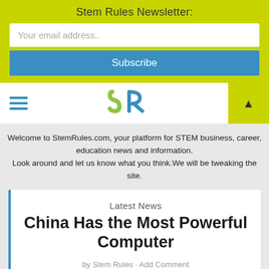Stem Rules Newsletter:
Your email address..
Subscribe
[Figure (logo): SR logo with green S and blue R]
Welcome to StemRules.com, your platform for STEM business, career, education news and information. Look around and let us know what you think.We will be tweaking the site.
Latest News
China Has the Most Powerful Computer
by Stem Rules · Add Comment
‹ Prev
Next